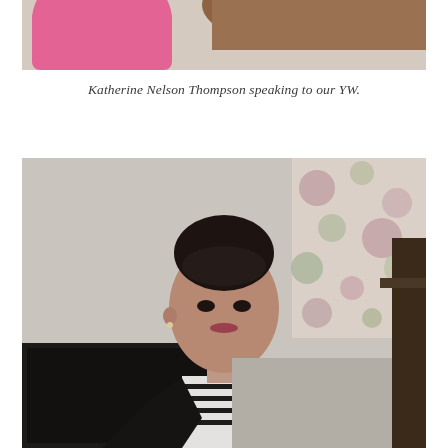[Figure (photo): Top portion of a photo showing a person in a pink sweater and another person with long brown hair, partially cropped]
Katherine Nelson Thompson speaking to our YW.
[Figure (photo): A woman with dark hair pulled up, wearing a black blazer over a striped shirt, standing in a room with a floral curtain and dark furniture in the background]